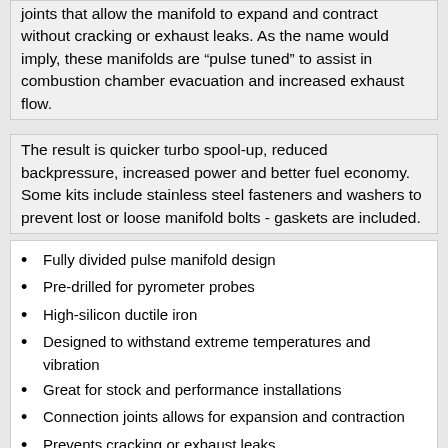joints that allow the manifold to expand and contract without cracking or exhaust leaks. As the name would imply, these manifolds are “pulse tuned” to assist in combustion chamber evacuation and increased exhaust flow.
The result is quicker turbo spool-up, reduced backpressure, increased power and better fuel economy. Some kits include stainless steel fasteners and washers to prevent lost or loose manifold bolts - gaskets are included.
Fully divided pulse manifold design
Pre-drilled for pyrometer probes
High-silicon ductile iron
Designed to withstand extreme temperatures and vibration
Great for stock and performance installations
Connection joints allows for expansion and contraction
Prevents cracking or exhaust leaks
Quicker turbo spool up
Reduced back-pressure